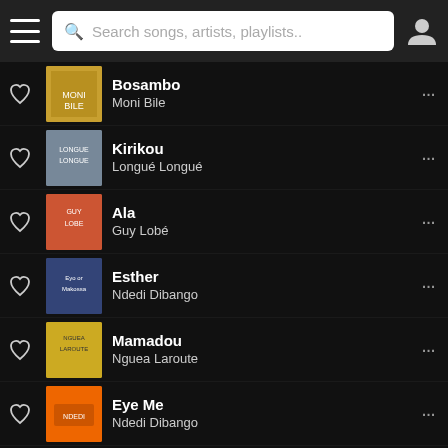[Figure (screenshot): Music app top navigation bar with hamburger menu, search box reading 'Search songs, artists, playlists..', and profile icon]
Bosambo / Moni Bile
Kirikou / Longué Longué
Ala / Guy Lobé
Esther / Ndedi Dibango
Mamadou / Nguea Laroute
Eye Me / Ndedi Dibango
Top Eko / Eko Roosvelt